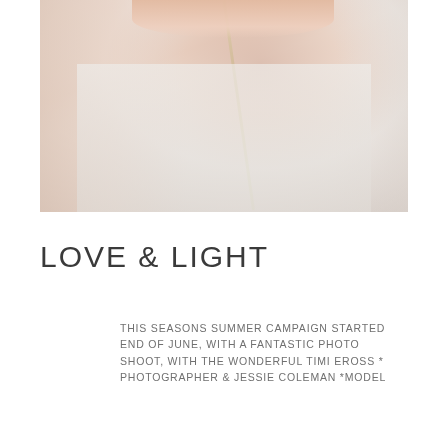[Figure (photo): Close-up photo of a person in white clothing, holding or wearing a thin olive/yellow-green vine or string. The image is soft-focused with warm skin tones in the background.]
LOVE & LIGHT
THIS SEASONS SUMMER CAMPAIGN STARTED END OF JUNE, WITH A FANTASTIC PHOTO SHOOT, WITH THE WONDERFUL TIMI EROSS * PHOTOGRAPHER & JESSIE COLEMAN *MODEL